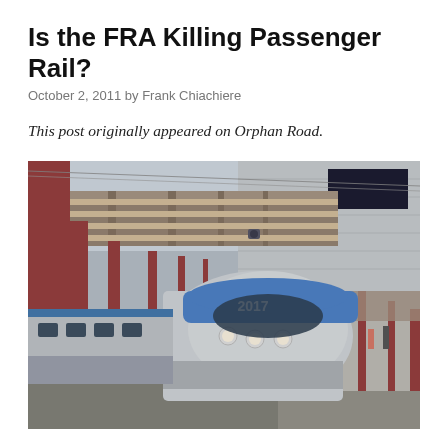Is the FRA Killing Passenger Rail?
October 2, 2011 by Frank Chiachiere
This post originally appeared on Orphan Road.
[Figure (photo): A modern high-speed Amtrak train (number 2017) at a station platform. The silver and blue train faces the camera. The station has a covered platform with red/brown columns on the left and a modern building in the background. Yellow safety stripe visible on platform edge.]